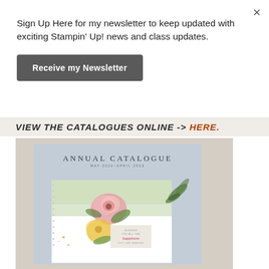×
Sign Up Here for my newsletter to keep updated with exciting Stampin' Up! news and class updates.
Receive my Newsletter
VIEW THE CATALOGUES ONLINE -> HERE.
[Figure (photo): Stampin' Up! Annual Catalogue May 2022–April 2023 cover featuring floral watercolor card with pink and yellow flowers, sentiment reading 'wishing you all the happiness you can imagine', on a light blue background.]